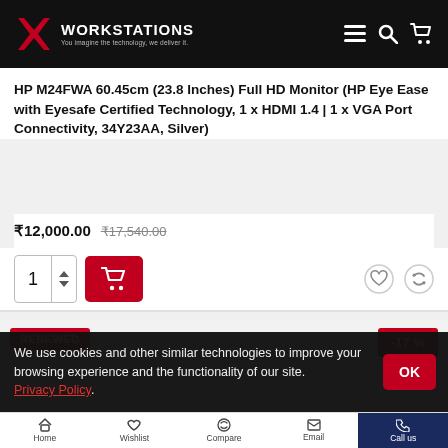WORKSTATIONS – You imagine the technology, we deliver it.
HP M24FWA 60.45cm (23.8 Inches) Full HD Monitor (HP Eye Ease with Eyesafe Certified Technology, 1 x HDMI 1.4 | 1 x VGA Port Connectivity, 34Y23AA, Silver)
₹12,000.00  ₹17,540.00
[Figure (screenshot): Add to cart quantity selector with quantity 1 and red cart button; wishlist and compare icons on the right]
[Figure (screenshot): Product listing card with RENEWED badge on top-left and -17% discount badge on top-right]
We use cookies and other similar technologies to improve your browsing experience and the functionality of our site. Privacy Policy.
Home  Wishlist  Compare  Email  Call us